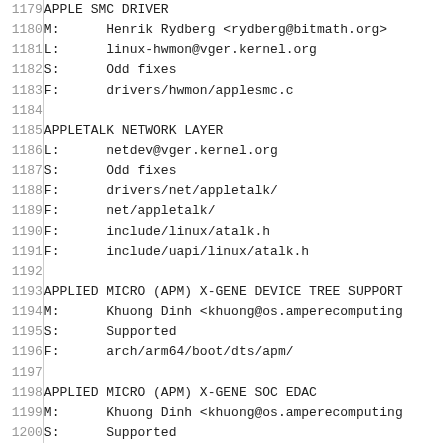1179  APPLE SMC DRIVER
1180  M:  Henrik Rydberg <rydberg@bitmath.org>
1181  L:  linux-hwmon@vger.kernel.org
1182  S:  Odd fixes
1183  F:  drivers/hwmon/applesmc.c
1184
1185  APPLETALK NETWORK LAYER
1186  L:  netdev@vger.kernel.org
1187  S:  Odd fixes
1188  F:  drivers/net/appletalk/
1189  F:  net/appletalk/
1190  F:  include/linux/atalk.h
1191  F:  include/uapi/linux/atalk.h
1192
1193  APPLIED MICRO (APM) X-GENE DEVICE TREE SUPPORT
1194  M:  Khuong Dinh <khuong@os.amperecomputing
1195  S:  Supported
1196  F:  arch/arm64/boot/dts/apm/
1197
1198  APPLIED MICRO (APM) X-GENE SOC EDAC
1199  M:  Khuong Dinh <khuong@os.amperecomputing
1200  S:  Supported